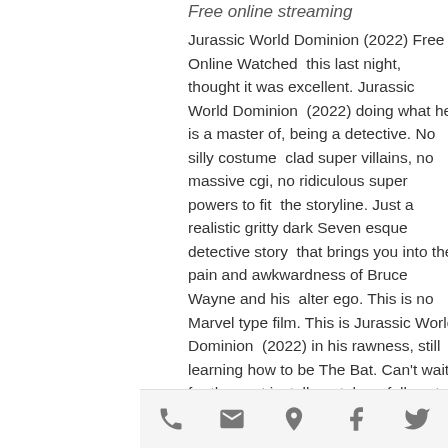Free online streaming
Jurassic World Dominion (2022) Free Online Watched this last night, thought it was excellent. Jurassic World Dominion (2022) doing what he is a master of, being a detective. No silly costume clad super villains, no massive cgi, no ridiculous super powers to fit the storyline. Just a realistic gritty dark Seven esque detective story that brings you into the pain and awkwardness of Bruce Wayne and his alter ego. This is no Marvel type film. This is Jurassic World Dominion (2022) in his rawness, still learning how to be The Bat. Can't wait for the next installment, hopefully set around year 6 (this is year 2)
I think I may have a new favourite Bat film. Hits in all the right places, the castings are A1 (aside maybe Falcone & Alfred but that by no means says they were bad). Pattinson